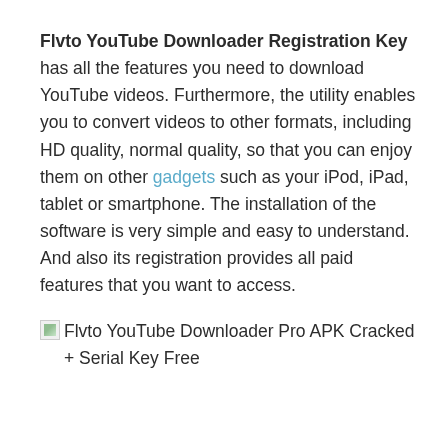Flvto YouTube Downloader Registration Key has all the features you need to download YouTube videos. Furthermore, the utility enables you to convert videos to other formats, including HD quality, normal quality, so that you can enjoy them on other gadgets such as your iPod, iPad, tablet or smartphone. The installation of the software is very simple and easy to understand. And also its registration provides all paid features that you want to access.
[Figure (other): Broken image placeholder with alt text: Flvto YouTube Downloader Pro APK Cracked + Serial Key Free]